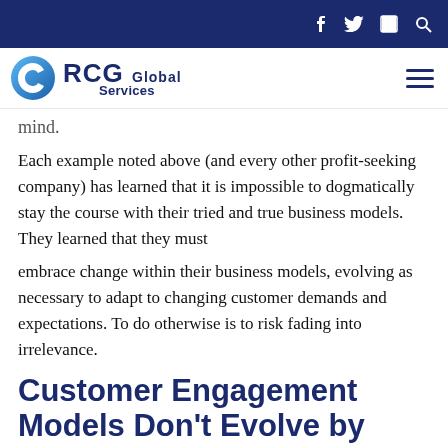RCG Global Services
mind.
Each example noted above (and every other profit-seeking company) has learned that it is impossible to dogmatically stay the course with their tried and true business models. They learned that they must embrace change within their business models, evolving as necessary to adapt to changing customer demands and expectations. To do otherwise is to risk fading into irrelevance.
Customer Engagement Models Don't Evolve by Accident